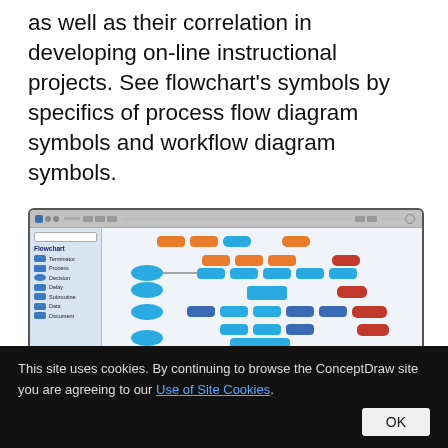as well as their correlation in developing on-line instructional projects. See flowchart's symbols by specifics of process flow diagram symbols and workflow diagram symbols.
[Figure (screenshot): Screenshot of ConceptDraw flowchart software showing a left panel with flowchart shape library (Terminator, Process, Decision, Delay, Subroutine, Data, Document) and a right canvas with a colorful flowchart diagram using orange, blue, and red nodes. A play button overlay is visible in the center-bottom area.]
This site uses cookies. By continuing to browse the ConceptDraw site you are agreeing to our Use of Site Cookies.